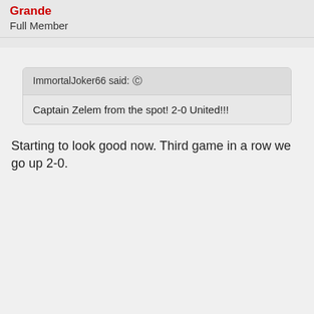Grande
Full Member
ImmortalJoker66 said: ↑
Captain Zelem from the spot! 2-0 United!!!
Starting to look good now. Third game in a row we go up 2-0.